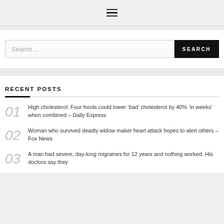≡ (hamburger menu icon)
Search ...
RECENT POSTS
01 High cholesterol: Four foods could lower 'bad' cholesterol by 40% 'in weeks' when combined – Daily Express
02 Woman who survived deadly widow maker heart attack hopes to alert others – Fox News
A man had severe, day-long migraines for 12 years and nothing worked. His doctors say they